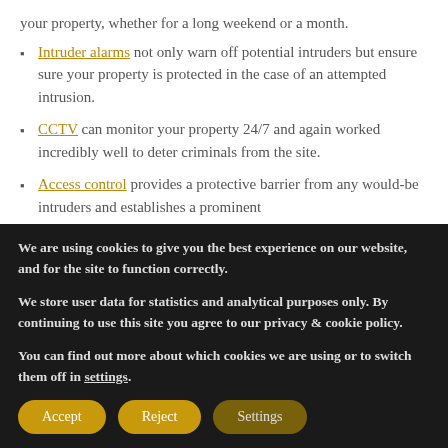your property, whether for a long weekend or a month.
Intruder alarms not only warn off potential intruders but ensure sure your property is protected in the case of an attempted intrusion.
CCTV can monitor your property 24/7 and again worked incredibly well to deter criminals from the site.
Access control provides a protective barrier from any would-be intruders and establishes a prominent
We are using cookies to give you the best experience on our website, and for the site to function correctly.
We store user data for statistics and analytical purposes only. By continuing to use this site you agree to our privacy & cookie policy.
You can find out more about which cookies we are using or to switch them off in settings.